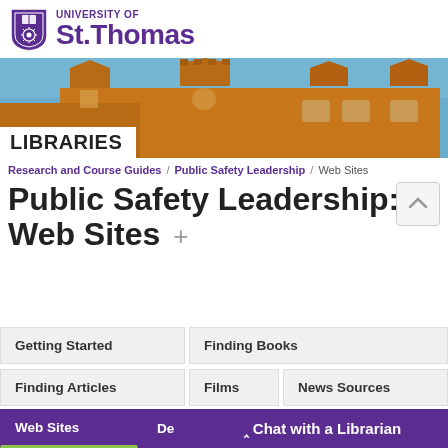[Figure (logo): University of St. Thomas shield logo with purple text]
[Figure (photo): University of St. Thomas building exterior with stone architecture and blue sky, with LIBRARIES banner overlay]
Research and Course Guides / Public Safety Leadership / Web Sites
Public Safety Leadership: Web Sites +
Getting Started | Finding Books | Finding Articles | Films | News Sources | Web Sites | De... | ^ Chat with a Librarian